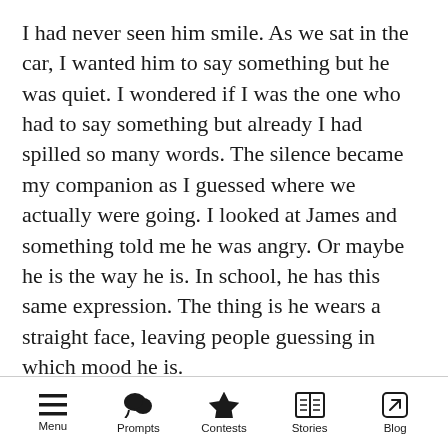I had never seen him smile. As we sat in the car, I wanted him to say something but he was quiet. I wondered if I was the one who had to say something but already I had spilled so many words. The silence became my companion as I guessed where we actually were going. I looked at James and something told me he was angry. Or maybe he is the way he is. In school, he has this same expression. The thing is he wears a straight face, leaving people guessing in which mood he is.
"Sorry I was kinda quiet." He says and my heart. Is fine. Or maybe not.
Menu | Prompts | Contests | Stories | Blog